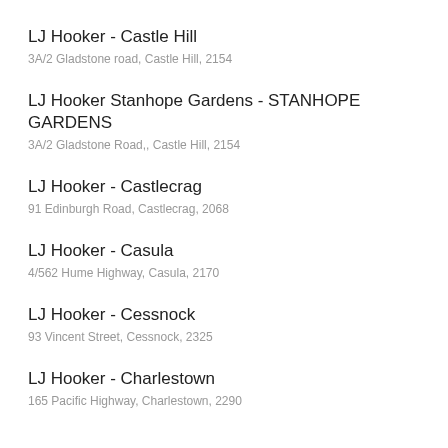LJ Hooker - Castle Hill
3A/2 Gladstone road, Castle Hill, 2154
LJ Hooker Stanhope Gardens - STANHOPE GARDENS
3A/2 Gladstone Road,, Castle Hill, 2154
LJ Hooker - Castlecrag
91 Edinburgh Road, Castlecrag, 2068
LJ Hooker - Casula
4/562 Hume Highway, Casula, 2170
LJ Hooker - Cessnock
93 Vincent Street, Cessnock, 2325
LJ Hooker - Charlestown
165 Pacific Highway, Charlestown, 2290